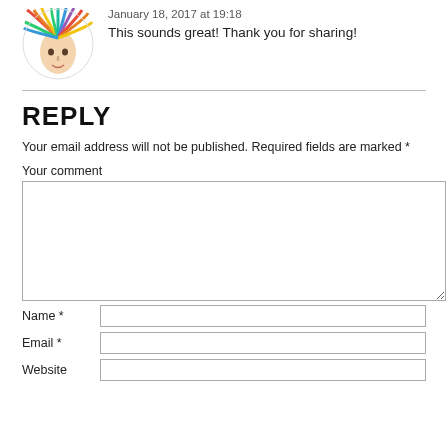[Figure (illustration): Colorful illustration of a person with flowing rainbow-colored hair]
January 18, 2017 at 19:18
This sounds great! Thank you for sharing!
REPLY
Your email address will not be published. Required fields are marked *
Your comment
Name *
Email *
Website